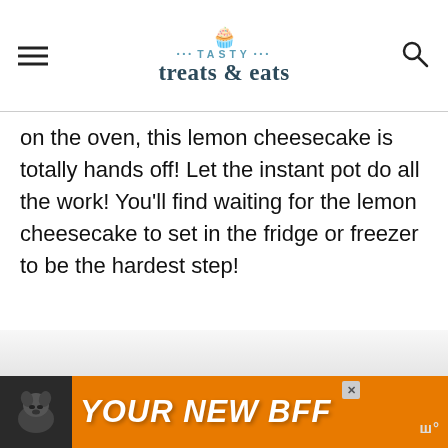TASTY treats & eats
on the oven, this lemon cheesecake is totally hands off! Let the instant pot do all the work! You’ll find waiting for the lemon cheesecake to set in the fridge or freezer to be the hardest step!
[Figure (photo): Faded/partially visible background photo of a lemon cheesecake]
[Figure (infographic): Advertisement banner with orange background showing a dog and text YOUR NEW BFF]